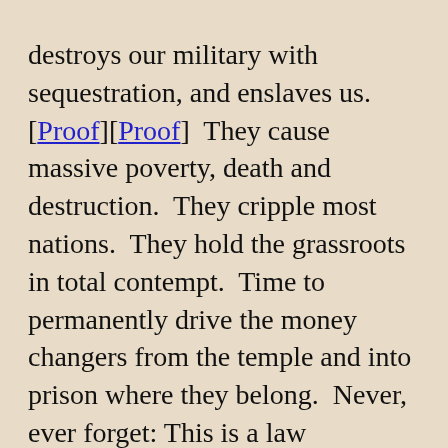destroys our military with sequestration, and enslaves us. [Proof][Proof] They cause massive poverty, death and destruction. They cripple most nations. They hold the grassroots in total contempt. Time to permanently drive the money changers from the temple and into prison where they belong. Never, ever forget: This is a law enforcement issue, not an economics issue. Defend yourselves.

I will call for reactivating the House Un-American Activities Committee (1938-1975), created by the 79th Congress in Public Law 601, to investigate the many clear and present threats of subversion and propaganda attacking the form of